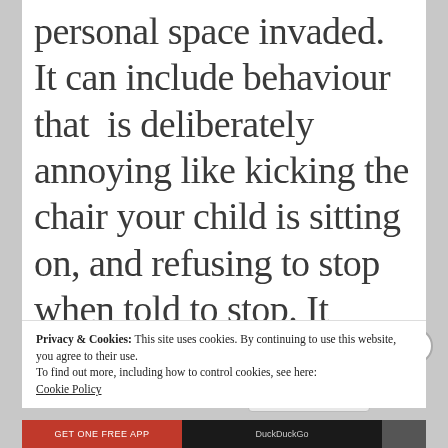personal space invaded. It can include behaviour that  is deliberately annoying like kicking the chair your child is sitting on, and refusing to stop when told to stop. It could involve
Privacy & Cookies: This site uses cookies. By continuing to use this website, you agree to their use.
To find out more, including how to control cookies, see here: Cookie Policy
Close and accept